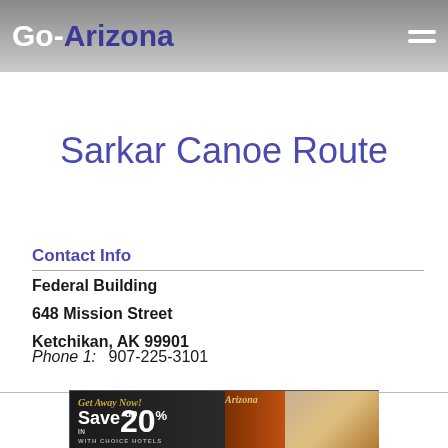Go-Arizona
Sarkar Canoe Route
Contact Info
Federal Building
648 Mission Street
Ketchikan, AK 99901
Phone 1:  907-225-3101
[Figure (other): Advertisement banner: Get Away Now! Save up to 20% with Choice Hotels, Arizona]